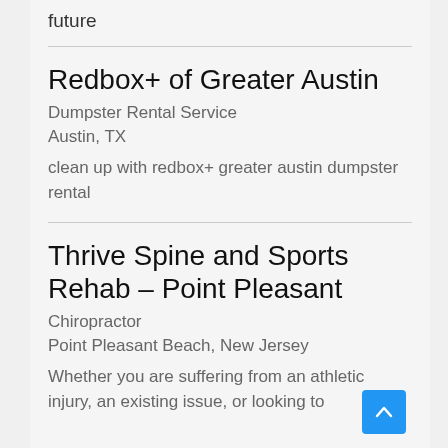future
Redbox+ of Greater Austin
Dumpster Rental Service
Austin, TX
clean up with redbox+ greater austin dumpster rental
Thrive Spine and Sports Rehab – Point Pleasant
Chiropractor
Point Pleasant Beach, New Jersey
Whether you are suffering from an athletic injury, an existing issue, or looking to